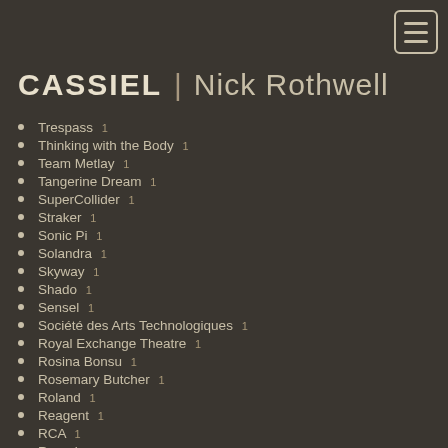[Figure (other): Hamburger menu button icon in top right corner]
CASSIEL | Nick Rothwell
Trespass 1
Thinking with the Body 1
Team Metlay 1
Tangerine Dream 1
SuperCollider 1
Straker 1
Sonic Pi 1
Solandra 1
Skyway 1
Shado 1
Sensel 1
Société des Arts Technologiques 1
Royal Exchange Theatre 1
Rosina Bonsu 1
Rosemary Butcher 1
Roland 1
Reagent 1
RCA 1
Ragadawn 1
Radical Data 1
QuestLab Project 1
Quanta 1